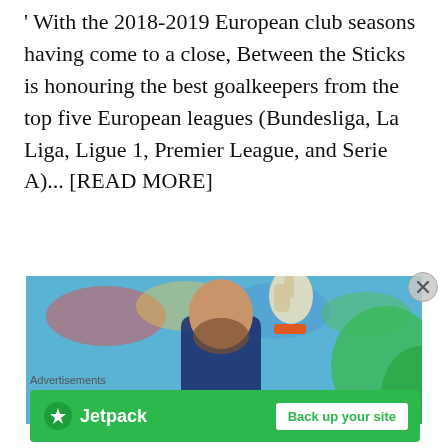With the 2018-2019 European club seasons having come to a close, Between the Sticks is honouring the best goalkeepers from the top five European leagues (Bundesliga, La Liga, Ligue 1, Premier League, and Serie A)... [READ MORE]
[Figure (photo): Goalkeeper with gloved hand raised pointing upward, celebrating, wearing orange wristband, colorful blurred crowd background with green element]
Advertisements
[Figure (logo): Jetpack advertisement banner with green background, Jetpack logo on left and 'Back up your site' button on right]